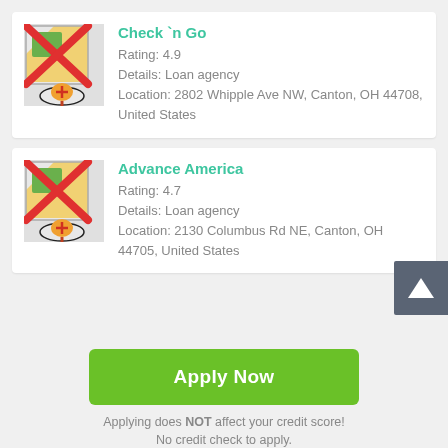[Figure (screenshot): Mobile app listing card for Check 'n Go loan agency]
Check `n Go
Rating: 4.9
Details: Loan agency
Location: 2802 Whipple Ave NW, Canton, OH 44708, United States
[Figure (screenshot): Mobile app listing card for Advance America loan agency]
Advance America
Rating: 4.7
Details: Loan agency
Location: 2130 Columbus Rd NE, Canton, OH 44705, United States
Apply Now
Applying does NOT affect your credit score! No credit check to apply.